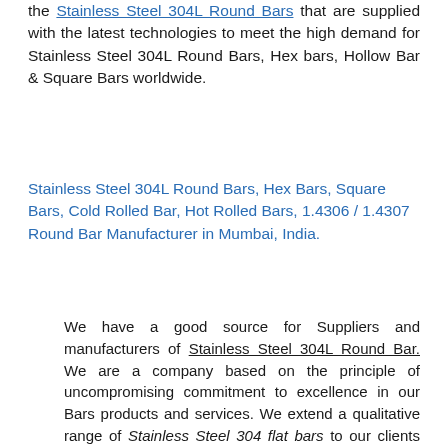the Stainless Steel 304L Round Bars that are supplied with the latest technologies to meet the high demand for Stainless Steel 304L Round Bars, Hex bars, Hollow Bar & Square Bars worldwide.
Stainless Steel 304L Round Bars, Hex Bars, Square Bars, Cold Rolled Bar, Hot Rolled Bars, 1.4306 / 1.4307 Round Bar Manufacturer in Mumbai, India.
We have a good source for Suppliers and manufacturers of Stainless Steel 304L Round Bar. We are a company based on the principle of uncompromising commitment to excellence in our Bars products and services. We extend a qualitative range of Stainless Steel 304 flat bars to our clients that are manufacturers with set industry standards. We also provide in small quantity, cut